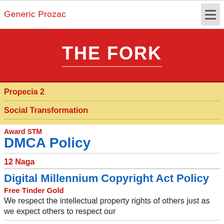Generic Prozac
THE FORK
Propecia 2
Social Transformation
Award STM
DMCA Policy
12 Naga
Digital Millennium Copyright Act Policy
Free Tinder Gold
We respect the intellectual property rights of others just as we expect others to respect our